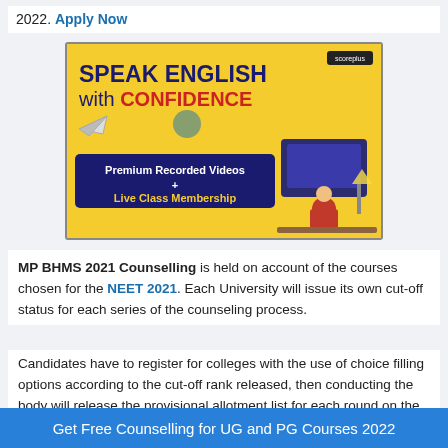2022. Apply Now
[Figure (illustration): Advertisement banner for 'Speak English with Confidence' course featuring Premium Recorded Videos + Live Class Membership with a student at a computer.]
MP BHMS 2021 Counselling is held on account of the courses chosen for the NEET 2021. Each University will issue its own cut-off status for each series of the counseling process.
Candidates have to register for colleges with the use of choice filling options according to the cut-off rank released, then conducting the body will release the provisional allotment list for each round on the
Get Free Counselling for UG and PG Courses 2022